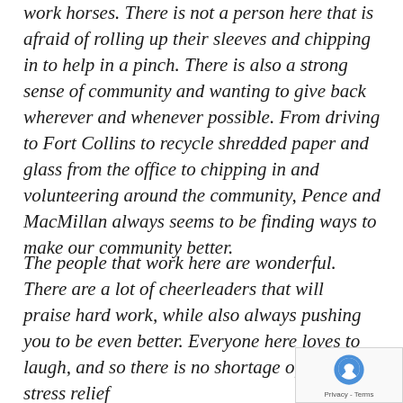work horses. There is not a person here that is afraid of rolling up their sleeves and chipping in to help in a pinch. There is also a strong sense of community and wanting to give back wherever and whenever possible. From driving to Fort Collins to recycle shredded paper and glass from the office to chipping in and volunteering around the community, Pence and MacMillan always seems to be finding ways to make our community better.
The people that work here are wonderful. There are a lot of cheerleaders that will praise hard work, while also always pushing you to be even better. Everyone here loves to laugh, and so there is no shortage of comedic stress relief